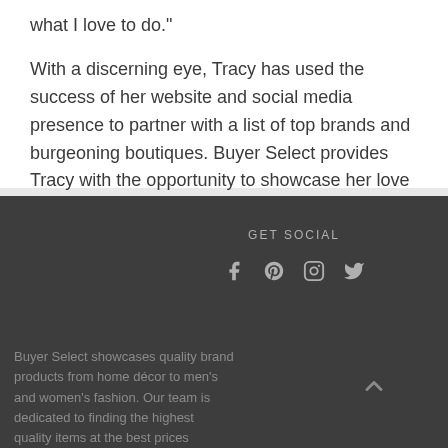what I love to do."
With a discerning eye, Tracy has used the success of her website and social media presence to partner with a list of top brands and burgeoning boutiques. Buyer Select provides Tracy with the opportunity to showcase her love of design, travel and fabulous products encompassing both new and old.
GET SOCIAL
Buyer Select showcases quality brand products from home décor to men's and women's fashion. Our team is dedicated to finding the highest quality items at the best prices